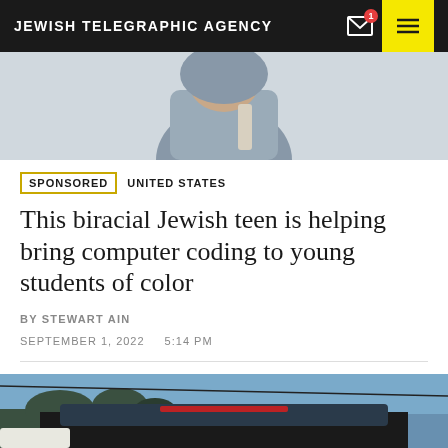JEWISH TELEGRAPHIC AGENCY
[Figure (photo): Person in gray hoodie holding something, upper body shot]
SPONSORED   UNITED STATES
This biracial Jewish teen is helping bring computer coding to young students of color
BY STEWART AIN
SEPTEMBER 1, 2022   5:14 PM
[Figure (photo): Outdoor photo showing trees and top of a vehicle with rear window brake light visible]